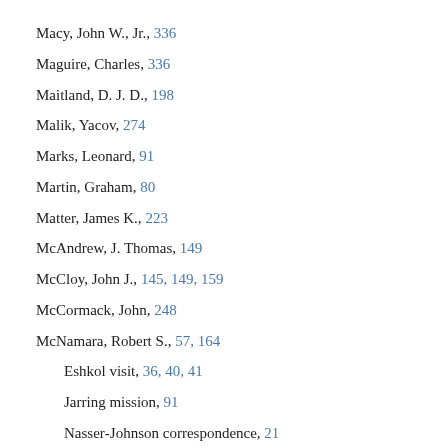Macy, John W., Jr., 336
Maguire, Charles, 336
Maitland, D. J. D., 198
Malik, Yacov, 274
Marks, Leonard, 91
Martin, Graham, 80
Matter, James K., 223
McAndrew, J. Thomas, 149
McCloy, John J., 145, 149, 159
McCormack, John, 248
McNamara, Robert S., 57, 164
Eshkol visit, 36, 40, 41
Jarring mission, 91
Nasser-Johnson correspondence, 21
U.S. military aid to Israel, 19, 22, 36, 38, 41, 51, 69
U.S. military aid to Jordan, 49, 71, 72, 76